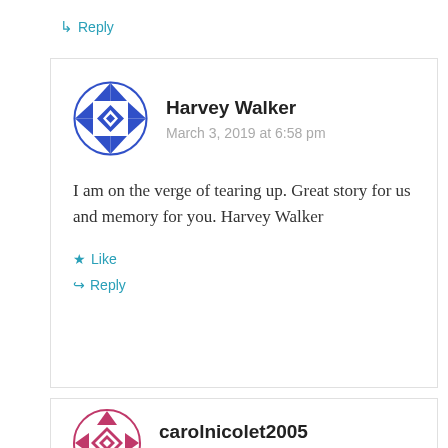↳ Reply
[Figure (illustration): Blue and white geometric quilt pattern circular avatar for Harvey Walker]
Harvey Walker
March 3, 2019 at 6:58 pm
I am on the verge of tearing up. Great story for us and memory for you. Harvey Walker
★ Like
↳ Reply
[Figure (illustration): Pink and white geometric star pattern circular avatar for carolnicolet2005]
carolnicolet2005
March 3, 2019 at 10:30 pm